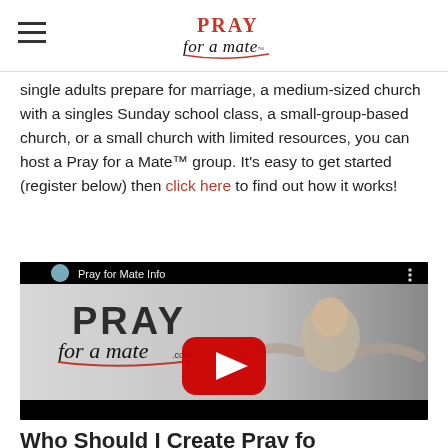Pray for a Mate (logo)
single adults prepare for marriage, a medium-sized church with a singles Sunday school class, a small-group-based church, or a small church with limited resources, you can host a Pray for a Mate™ group. It's easy to get started (register below) then click here to find out how it works!
[Figure (screenshot): YouTube video thumbnail showing a woman with arms spread wide, 'Pray for Mate Info' title, and YouTube play button overlay. Logo reads 'Pray for a mate.com']
Who Should I Create Pray for...